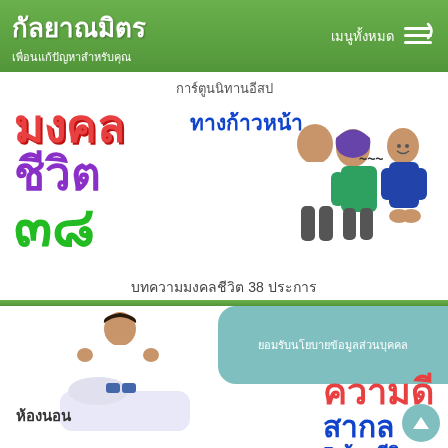กัลยาณมิตร เพื่อนแก้ปัญหาสำหรับคุณ | เมนูทั้งหมด
การ์ตูนนิทานอีสป
[Figure (illustration): Thai educational app screenshot showing 'มงคล ชีวิต ๓๘' (Mongkhol Cheewit 38) with text 'ทางก้าวหน้า' and cartoon characters of people talking]
บทความมงคลชีวิต 38 ประการ
[Figure (illustration): Lower section showing a boy making a bed with text 'ห้องนอน', 'ความดี สากล 5 ห้องชีวิต', and a privacy policy notice overlay]